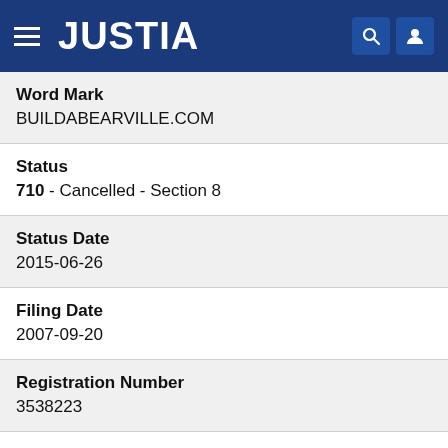JUSTIA
Word Mark
BUILDABEARVILLE.COM
Status
710 - Cancelled - Section 8
Status Date
2015-06-26
Filing Date
2007-09-20
Registration Number
3538223
Registration Date
2008-11-25